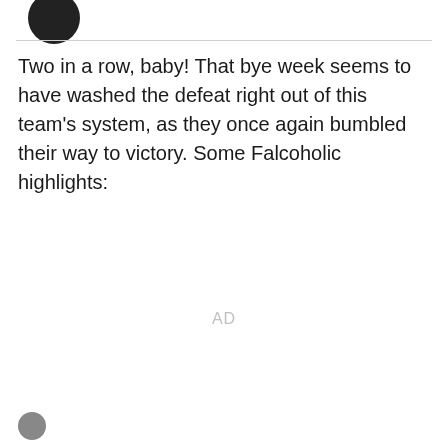[Figure (logo): Round dark logo partially visible at top left]
Two in a row, baby! That bye week seems to have washed the defeat right out of this team's system, as they once again bumbled their way to victory. Some Falcoholic highlights:
AD